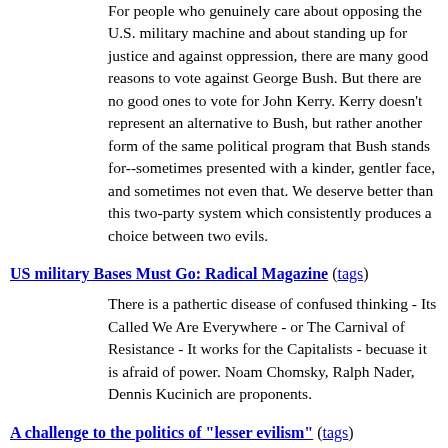For people who genuinely care about opposing the U.S. military machine and about standing up for justice and against oppression, there are many good reasons to vote against George Bush. But there are no good ones to vote for John Kerry. Kerry doesn't represent an alternative to Bush, but rather another form of the same political program that Bush stands for--sometimes presented with a kinder, gentler face, and sometimes not even that. We deserve better than this two-party system which consistently produces a choice between two evils.
US military Bases Must Go: Radical Magazine (tags)
There is a pathertic disease of confused thinking - Its Called We Are Everywhere - or The Carnival of Resistance - It works for the Capitalists - becuase it is afraid of power. Noam Chomsky, Ralph Nader, Dennis Kucinich are proponents.
A challenge to the politics of "lesser evilism" (tags)
This year, the man who is likely to win the nomination--John Kerry--has a reputation as a "liberal." Yet he voted for the Patriot Act, for the war on Iraq, for Bush's "No Child Left Behind" law, for